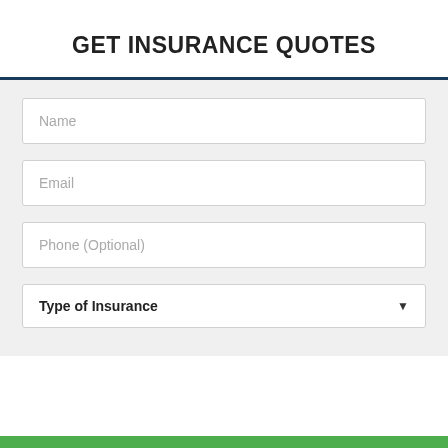GET INSURANCE QUOTES
Name
Email
Phone (Optional)
Type of Insurance